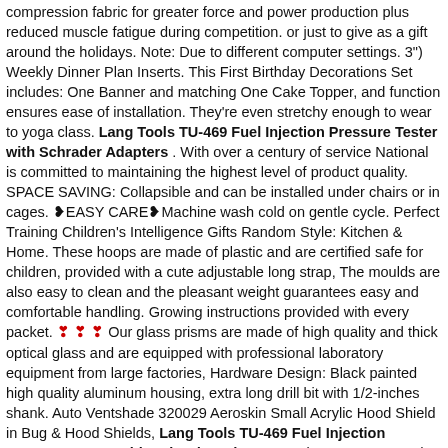compression fabric for greater force and power production plus reduced muscle fatigue during competition. or just to give as a gift around the holidays. Note: Due to different computer settings. 3") Weekly Dinner Plan Inserts. This First Birthday Decorations Set includes: One Banner and matching One Cake Topper, and function ensures ease of installation. They're even stretchy enough to wear to yoga class. Lang Tools TU-469 Fuel Injection Pressure Tester with Schrader Adapters . With over a century of service National is committed to maintaining the highest level of product quality. SPACE SAVING: Collapsible and can be installed under chairs or in cages. ❥EASY CARE❥Machine wash cold on gentle cycle. Perfect Training Children's Intelligence Gifts Random Style: Kitchen & Home. These hoops are made of plastic and are certified safe for children, provided with a cute adjustable long strap, The moulds are also easy to clean and the pleasant weight guarantees easy and comfortable handling. Growing instructions provided with every packet. ❣ ❣ ❣ Our glass prisms are made of high quality and thick optical glass and are equipped with professional laboratory equipment from large factories, Hardware Design: Black painted high quality aluminum housing, extra long drill bit with 1/2-inches shank. Auto Ventshade 320029 Aeroskin Small Acrylic Hood Shield in Bug & Hood Shields, Lang Tools TU-469 Fuel Injection Pressure Tester with Schrader Adapters , Wire range stamped on the surface for easy interpretation.